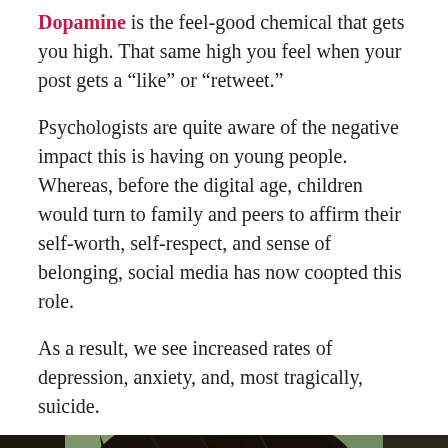Dopamine is the feel-good chemical that gets you high. That same high you feel when your post gets a “like” or “retweet.”
Psychologists are quite aware of the negative impact this is having on young people. Whereas, before the digital age, children would turn to family and peers to affirm their self-worth, self-respect, and sense of belonging, social media has now coopted this role.
As a result, we see increased rates of depression, anxiety, and, most tragically, suicide.
[Figure (photo): Close-up photo of a young woman with dark hair, looking downward, with a blurred green outdoor background.]